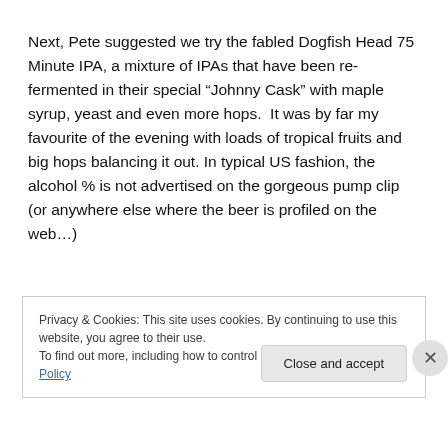Next, Pete suggested we try the fabled Dogfish Head 75 Minute IPA, a mixture of IPAs that have been re-fermented in their special “Johnny Cask” with maple syrup, yeast and even more hops.  It was by far my favourite of the evening with loads of tropical fruits and big hops balancing it out. In typical US fashion, the alcohol % is not advertised on the gorgeous pump clip (or anywhere else where the beer is profiled on the web…)
Privacy & Cookies: This site uses cookies. By continuing to use this website, you agree to their use.
To find out more, including how to control cookies, see here: Cookie Policy